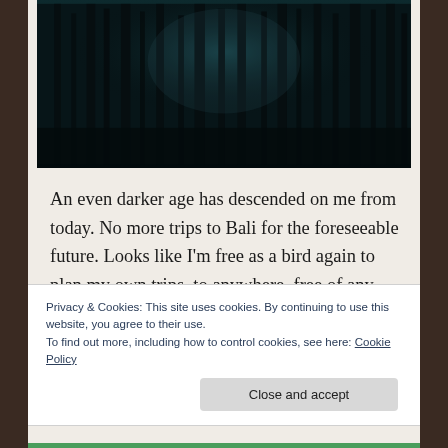[Figure (photo): Dark atmospheric forest photo with tall bare tree silhouettes against a dim teal-blue misty background]
An even darker age has descended on me from today. No more trips to Bali for the foreseeable future. Looks like I'm free as a bird again to plan my own trips, to anywhere, free of any ties. I tried my hardest, but I
Privacy & Cookies: This site uses cookies. By continuing to use this website, you agree to their use.
To find out more, including how to control cookies, see here: Cookie Policy
Close and accept